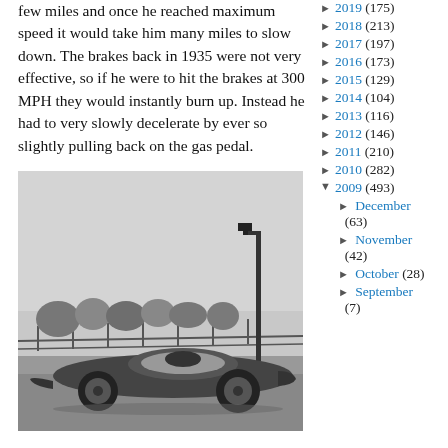few miles and once he reached maximum speed it would take him many miles to slow down. The brakes back in 1935 were not very effective, so if he were to hit the brakes at 300 MPH they would instantly burn up. Instead he had to very slowly decelerate by ever so slightly pulling back on the gas pedal.
[Figure (photo): Black and white photograph of a vintage 1930s racing car on a road, with a street lamp and trees/fencing in the background.]
2019 (175)
2018 (213)
2017 (197)
2016 (173)
2015 (129)
2014 (104)
2013 (116)
2012 (146)
2011 (210)
2010 (282)
2009 (493)
December (63)
November (42)
October (28)
September (7)